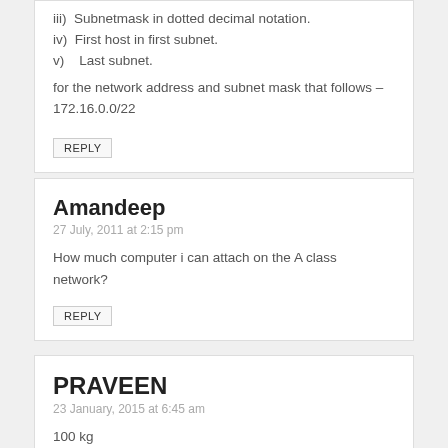iii)  Subnetmask in dotted decimal notation.
iv)  First host in first subnet.
v)    Last subnet.
for the network address and subnet mask that follows – 172.16.0.0/22
REPLY
Amandeep
27 July, 2011 at 2:15 pm
How much computer i can attach on the A class network?
REPLY
PRAVEEN
23 January, 2015 at 6:45 am
100 kg